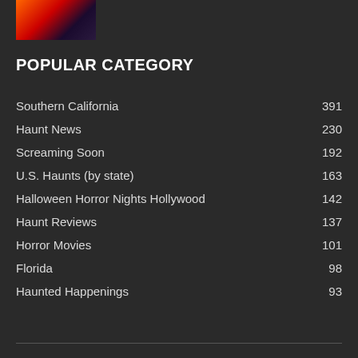[Figure (photo): Small thumbnail image showing Halloween/horror scene with fire/sparks and figures in dark]
POPULAR CATEGORY
Southern California 391
Haunt News 230
Screaming Soon 192
U.S. Haunts (by state) 163
Halloween Horror Nights Hollywood 142
Haunt Reviews 137
Horror Movies 101
Florida 98
Haunted Happenings 93